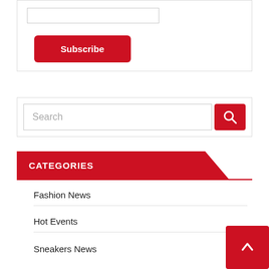[Figure (screenshot): Text input box at the top of a subscription widget]
Subscribe
[Figure (screenshot): Search bar with text input and red search button with magnifying glass icon]
CATEGORIES
Fashion News
Hot Events
Sneakers News